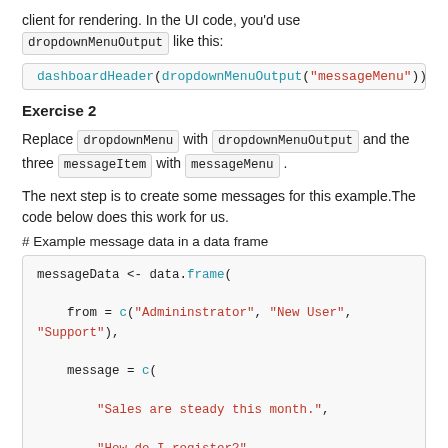client for rendering. In the UI code, you'd use dropdownMenuOutput like this:
[Figure (screenshot): Code block: dashboardHeader(dropdownMenuOutput("messageMenu"))]
Exercise 2
Replace dropdownMenu with dropdownMenuOutput and the three messageItem with messageMenu .
The next step is to create some messages for this example.The code below does this work for us.
# Example message data in a data frame
[Figure (screenshot): R code block: messageData <- data.frame( from = c("Admininstrator", "New User", "Support"), message = c( "Sales are steady this month.", "How do I register?", "The new server is ready." ),]